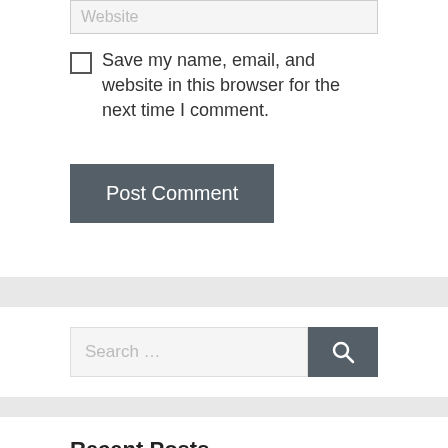Website
Save my name, email, and website in this browser for the next time I comment.
Post Comment
Search …
Recent Posts
Alarm Electronics And Communications